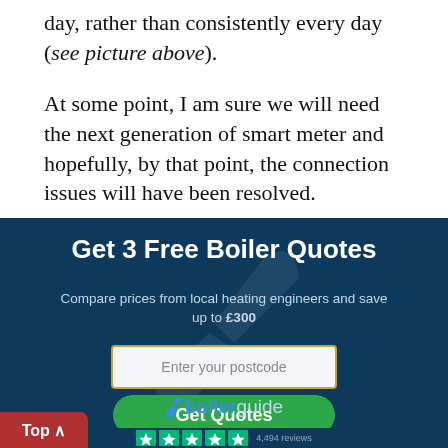day, rather than consistently every day (see picture above).
At some point, I am sure we will need the next generation of smart meter and hopefully, by that point, the connection issues will have been resolved.
[Figure (infographic): Boiler Guide promotional banner with dark navy background. Title: 'Get 3 Free Boiler Quotes'. Subtitle: 'Compare prices from local heating engineers and save up to £300'. Input field: 'Enter your postcode'. Green button: 'Get Quotes'. Boilerguide logo at bottom. Trustpilot star rating strip partially visible.]
Top ∧